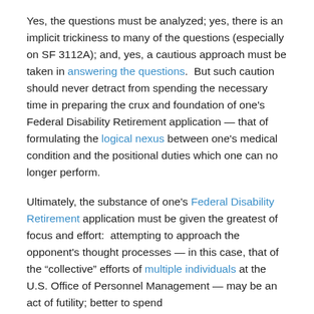Yes, the questions must be analyzed; yes, there is an implicit trickiness to many of the questions (especially on SF 3112A); and, yes, a cautious approach must be taken in answering the questions. But such caution should never detract from spending the necessary time in preparing the crux and foundation of one's Federal Disability Retirement application — that of formulating the logical nexus between one's medical condition and the positional duties which one can no longer perform.
Ultimately, the substance of one's Federal Disability Retirement application must be given the greatest of focus and effort: attempting to approach the opponent's thought processes — in this case, that of the "collective" efforts of multiple individuals at the U.S. Office of Personnel Management — may be an act of futility; better to spend